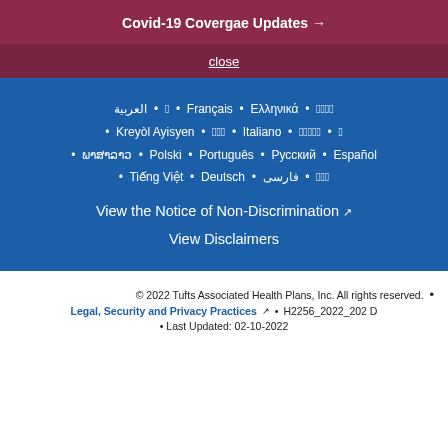Covid-19 Covergae Updates →
close
العربية • 한국어 • Français • Ελληνικά • 中文 • Kreyòl Ayisyen • 日本語 • Italiano • Tagalog • ਪੰਜਾਬੀ • ພາສາລາວ • Polski • Português • Русский • Español • Tiếng Việt • Deutsch • فارسی • 繁體中文
View the Notice of Non-Discrimination ↗
View Disclaimers
© 2022 Tufts Associated Health Plans, Inc. All rights reserved. • Legal, Security and Privacy Practices ↗ • H2256_2022_202 D • Last Updated: 02-10-2022